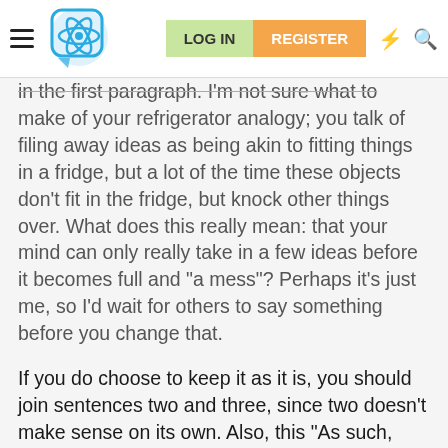LOG IN  REGISTER
in the first paragraph. I'm not sure what to make of your refrigerator analogy; you talk of filing away ideas as being akin to fitting things in a fridge, but a lot of the time these objects don't fit in the fridge, but knock other things over. What does this really mean: that your mind can only really take in a few ideas before it becomes full and "a mess"? Perhaps it's just me, so I'd wait for others to say something before you change that.
If you do choose to keep it as it is, you should join sentences two and three, since two doesn't make sense on its own. Also, this "As such, that I'm trying, or perhaps I should say struggling, to become a theoretical physicist."